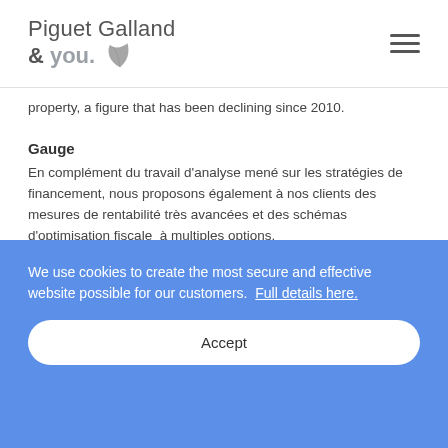Piguet Galland & you.
property, a figure that has been declining since 2010.
Gauge
En complément du travail d'analyse mené sur les stratégies de financement, nous proposons également à nos clients des mesures de rentabilité très avancées et des schémas d'optimisation fiscale à multiples options.
We use cookies to create the most secure and effective website possible for our customers. Full details here.
Accept